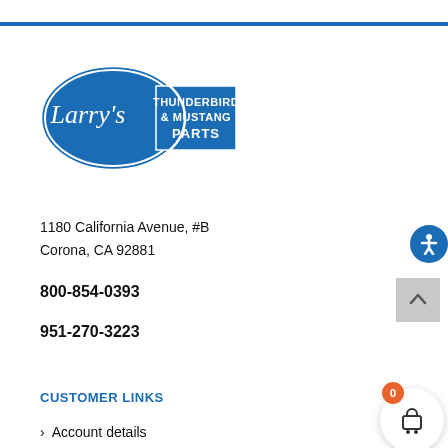[Figure (logo): Larry's Thunderbird & Mustang Parts logo — blue oval with script 'Larry's' text and blue rectangle with 'THUNDERBIRD & MUSTANG PARTS' text]
1180 California Avenue, #B
Corona, CA 92881
800-854-0393
951-270-3223
CUSTOMER LINKS
Account details